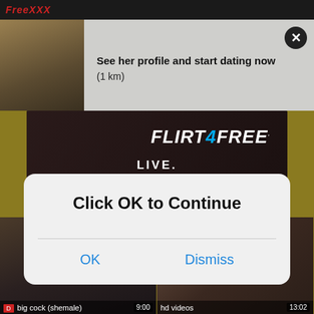[Figure (screenshot): Adult website screenshot with notification popup showing 'See her profile and start dating now (1 km)', a Flirt4Free banner ad with LIVE text, a browser dialog saying 'Click OK to Continue' with OK and Dismiss buttons, and adult video thumbnails at the bottom labeled 'big cock (shemale)' 9:00 and 'hd videos' 13:02]
See her profile and start dating now
(1 km)
FLIRT 4 FREE
LIVE
Click OK to Continue
OK
Dismiss
big cock (shemale)
9:00
hd videos
13:02